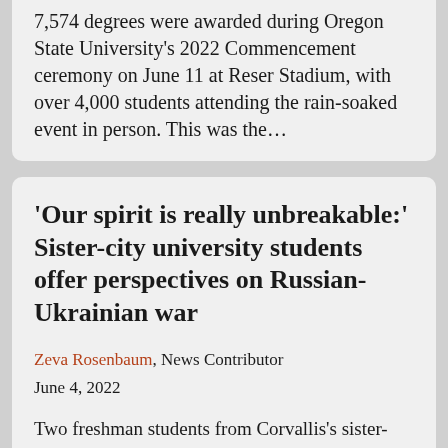7,574 degrees were awarded during Oregon State University's 2022 Commencement ceremony on June 11 at Reser Stadium, with over 4,000 students attending the rain-soaked event in person. This was the...
'Our spirit is really unbreakable:' Sister-city university students offer perspectives on Russian-Ukrainian war
Zeva Rosenbaum, News Contributor
June 4, 2022
Two freshman students from Corvallis's sister-city university, Uzhhorod National University, Sandra Dragostinova and Milla Puziak, have faced challenges maintaining their normal life and education amid...